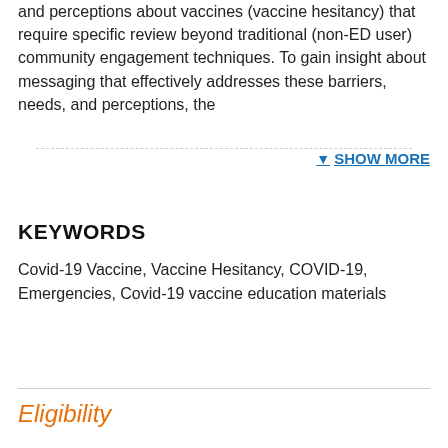and perceptions about vaccines (vaccine hesitancy) that require specific review beyond traditional (non-ED user) community engagement techniques. To gain insight about messaging that effectively addresses these barriers, needs, and perceptions, the
SHOW MORE
KEYWORDS
Covid-19 Vaccine, Vaccine Hesitancy, COVID-19, Emergencies, Covid-19 vaccine education materials
Eligibility